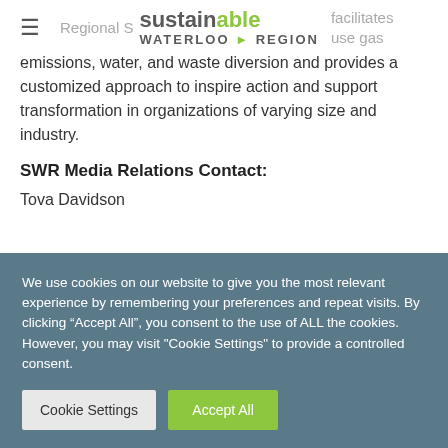sustainable WATERLOO ▶ REGION
Regional S... facilitates setting volunt... greenhouse gas emissions, water, and waste diversion and provides a customized approach to inspire action and support transformation in organizations of varying size and industry.
SWR Media Relations Contact:
Tova Davidson
We use cookies on our website to give you the most relevant experience by remembering your preferences and repeat visits. By clicking “Accept All”, you consent to the use of ALL the cookies. However, you may visit "Cookie Settings" to provide a controlled consent.